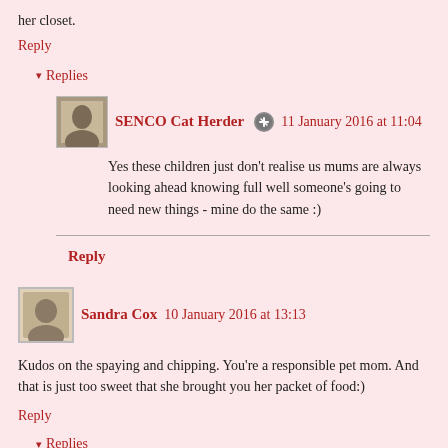her closet.
Reply
▾ Replies
SENCO Cat Herder 🔘 11 January 2016 at 11:04
Yes these children just don't realise us mums are always looking ahead knowing full well someone's going to need new things - mine do the same :)
Reply
Sandra Cox 10 January 2016 at 13:13
Kudos on the spaying and chipping. You're a responsible pet mom. And that is just too sweet that she brought you her packet of food:)
Reply
▾ Replies